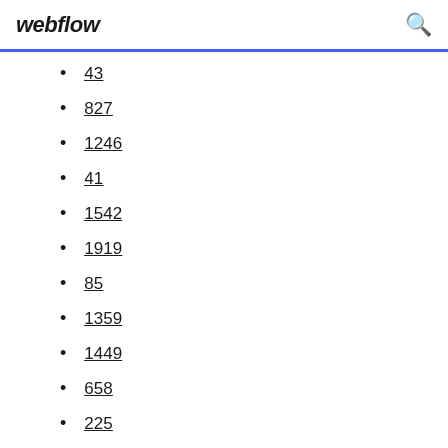webflow
43
827
1246
41
1542
1919
85
1359
1449
658
225
498
1508